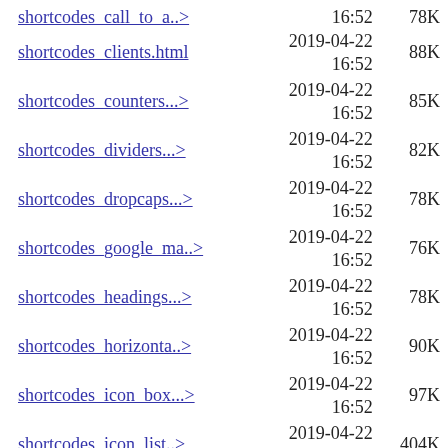shortcodes_call_to_a..> 2019-04-22 16:52 78K
shortcodes_clients.html 2019-04-22 16:52 88K
shortcodes_counters...> 2019-04-22 16:52 85K
shortcodes_dividers...> 2019-04-22 16:52 82K
shortcodes_dropcaps...> 2019-04-22 16:52 78K
shortcodes_google_ma..> 2019-04-22 16:52 76K
shortcodes_headings...> 2019-04-22 16:52 78K
shortcodes_horizonta..> 2019-04-22 16:52 90K
shortcodes_icon_box...> 2019-04-22 16:52 97K
shortcodes_icon_list..> 2019-04-22 16:52 404K
shortcodes_image_gal..> 2019-04-22 16:52 98K
shortcodes_interacti..> 2019-04-22 16:52 83K